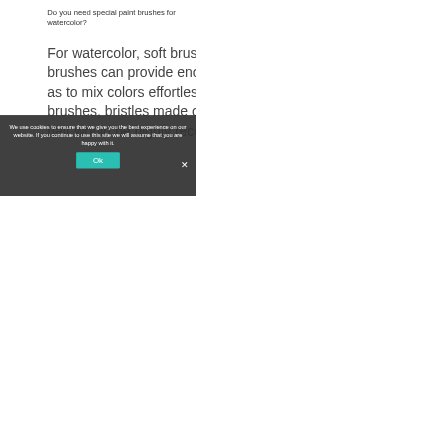Do you need special paint brushes for watercolor?
For watercolor, soft brushes are preferred the most as soft brushes can provide enough water holding capacity as well as to mix colors effortlessly. To find good watercolor brushes, bristles made of soft natural sable hair or squirrel hair would be highly recommended.
Is synthetic or natural brushes better for watercolor?
Synthetic and natural brushes are both good for watercolor. However, in comparison, natural brushes are
[Figure (screenshot): Cookie consent overlay with teal Ok button and close X button, overlaying body text]
We use cookies to ensure that we give you the best experience on our website. If you continue to use this site we will assume that you are happy with it.